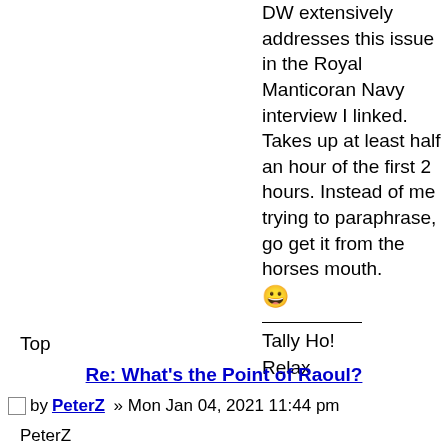DW extensively addresses this issue in the Royal Manticoran Navy interview I linked. Takes up at least half an hour of the first 2 hours. Instead of me trying to paraphrase, go get it from the horses mouth. 😀
Tally Ho!
Relax
Top
Re: What's the Point of Raoul?
by PeterZ » Mon Jan 04, 2021 11:44 pm
PeterZ
Fleet Admiral